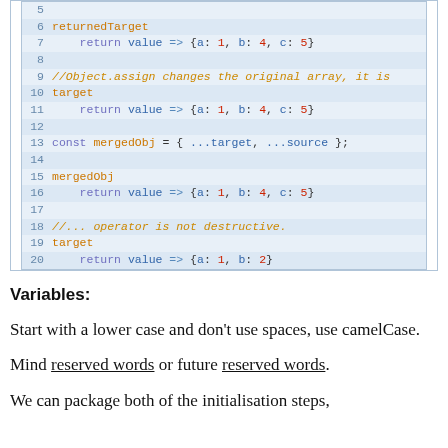[Figure (screenshot): Code block showing JavaScript output lines 5-20 with syntax highlighting. Lines show returnedTarget, target, mergedObj variables with return values, a const mergedObj spread expression, and comments about Object.assign and ... operator.]
Variables:
Start with a lower case and don't use spaces, use camelCase.
Mind reserved words or future reserved words.
We can package both of the initialisation steps,